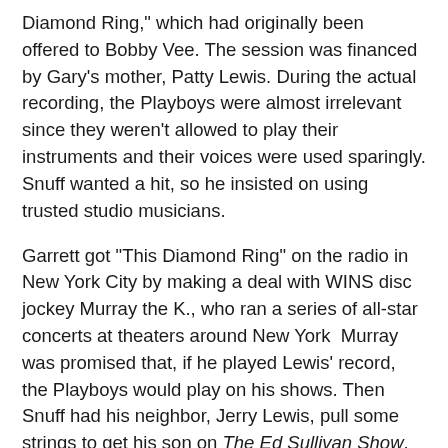Diamond Ring," which had originally been offered to Bobby Vee. The session was financed by Gary's mother, Patty Lewis. During the actual recording, the Playboys were almost irrelevant since they weren't allowed to play their instruments and their voices were used sparingly. Snuff wanted a hit, so he insisted on using trusted studio musicians.
Garrett got "This Diamond Ring" on the radio in New York City by making a deal with WINS disc jockey Murray the K., who ran a series of all-star concerts at theaters around New York  Murray was promised that, if he played Lewis' record, the Playboys would play on his shows. Then Snuff had his neighbor, Jerry Lewis, pull some strings to get his son on The Ed Sullivan Show.
Within a few weeks, Gary and his group were on America's top variety program. But it was Sullivan's policy that all the acts appearing on his show had to perform live. Since so many studio tricks had been used on "This Diamond Ring," there was no way that the Playboys could re-create its sound. So a compromise was struck. Gary sang along with